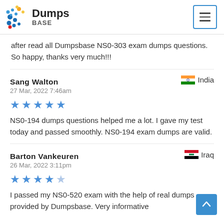Dumps BASE
after read all Dumpsbase NS0-303 exam dumps questions. So happy, thanks very much!!!
Sang Walton — India — 27 Mar, 2022 7:46am
★★★★★ NS0-194 dumps questions helped me a lot. I gave my test today and passed smoothly. NS0-194 exam dumps are valid.
Barton Vankeuren — Iraq — 26 Mar, 2022 3:11pm
★★★★☆ I passed my NS0-520 exam with the help of real dumps provided by Dumpsbase. Very informative